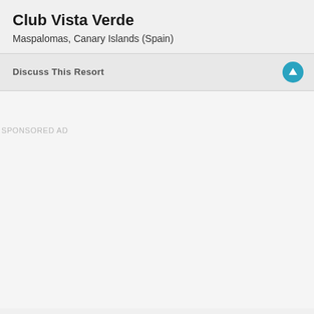Club Vista Verde
Maspalomas, Canary Islands (Spain)
Discuss This Resort
SPONSORED AD